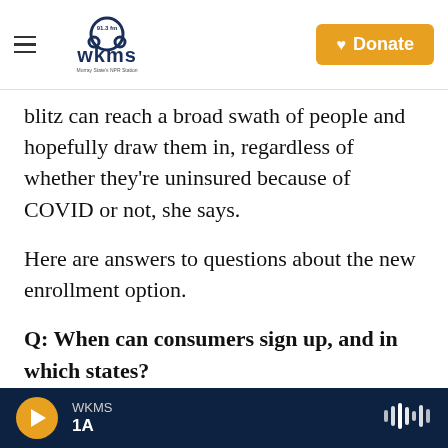WKMS 91.3 fm | Murray State's NPR Station | Donate
blitz can reach a broad swath of people and hopefully draw them in, regardless of whether they're uninsured because of COVID or not, she says.
Here are answers to questions about the new enrollment option.
Q: When can consumers sign up, and in which states?
The sign-up window will be open for three months, from Monday through May 15.
WKMS | 1A